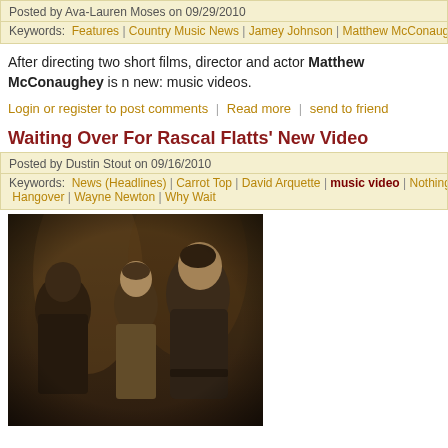Posted by Ava-Lauren Moses on 09/29/2010
Keywords: Features | Country Music News | Jamey Johnson | Matthew McConaughey | m
After directing two short films, director and actor Matthew McConaughey is n new: music videos.
Login or register to post comments | Read more | send to friend
Waiting Over For Rascal Flatts' New Video
Posted by Dustin Stout on 09/16/2010
Keywords: News (Headlines) | Carrot Top | David Arquette | music video | Nothing Like Th Hangover | Wayne Newton | Why Wait
[Figure (photo): Three male musicians posed together in a moody, sepia-toned photo — Rascal Flatts members]